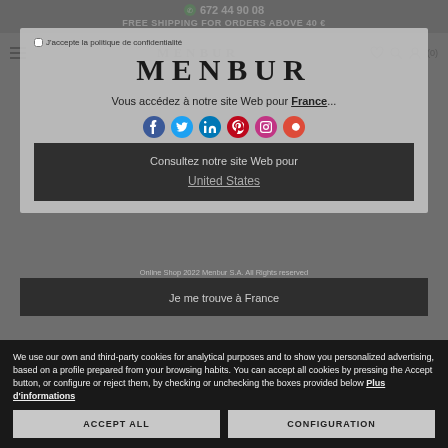672 44 90 08
FREE SHIPPING FOR ORDERS ABOVE 40 €
[Figure (logo): MENBUR brand logo in navigation bar]
[Figure (logo): MENBUR large brand logo in country selection modal]
Vous accédez à notre site Web pour France...
Consultez notre site Web pour United States
Online Shop 2022 Menbur S.A. All Rights reserved
Je me trouve à France
We use our own and third-party cookies for analytical purposes and to show you personalized advertising, based on a profile prepared from your browsing habits. You can accept all cookies by pressing the Accept button, or configure or reject them, by checking or unchecking the boxes provided below Plus d'informations
ACCEPT ALL
CONFIGURATION